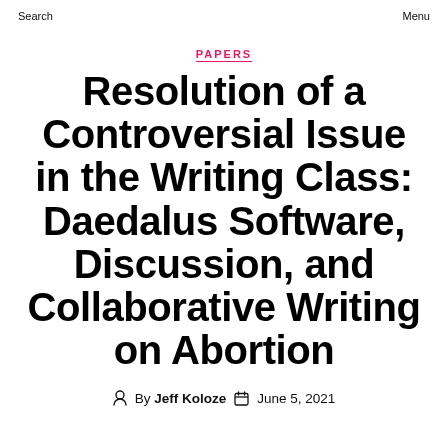Search   Menu
PAPERS
Resolution of a Controversial Issue in the Writing Class: Daedalus Software, Discussion, and Collaborative Writing on Abortion
By Jeff Koloze   June 5, 2021